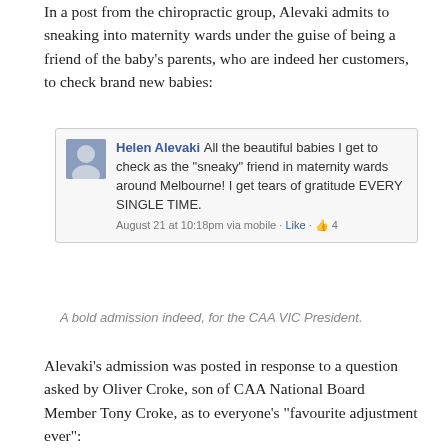In a post from the chiropractic group, Alevaki admits to sneaking into maternity wards under the guise of being a friend of the baby's parents, who are indeed her customers, to check brand new babies:
[Figure (screenshot): Facebook post screenshot from Helen Alevaki: 'All the beautiful babies I get to check as the "sneaky" friend in maternity wards around Melbourne! I get tears of gratitude EVERY SINGLE TIME.' August 21 at 10:18pm via mobile · Like · 4]
A bold admission indeed, for the CAA VIC President.
Alevaki's admission was posted in response to a question asked by Oliver Croke, son of CAA National Board Member Tony Croke, as to everyone's "favourite adjustment ever":